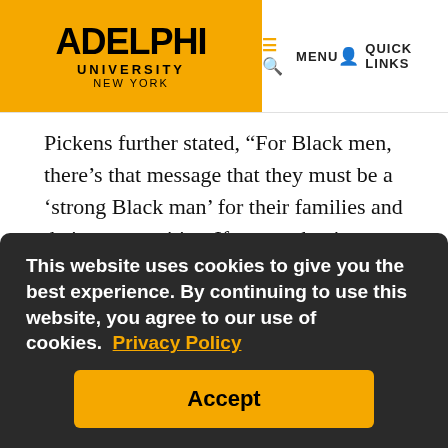ADELPHI UNIVERSITY NEW YORK | MENU | QUICK LINKS
Pickens further stated, “For Black men, there’s that message that they must be a ‘strong Black man’ for their families and their communities. If we can begin to plant the seed that it’s okay to not be okay, and show there are resources that are there, it normalizes seeking help.”
Muller could not agree more. “This year I trademarked a term that I’ve been using since 2016 in my couples therapy. ‘Black Kings Need Therapy Too.’ I could see from the body language during couples thera[py that they] needed their own therapy—bu[t wouldn’t] seek it out. We are the least likely to go and get help.”
This website uses cookies to give you the best experience. By continuing to use this website, you agree to our use of cookies.  Privacy Policy
Accept